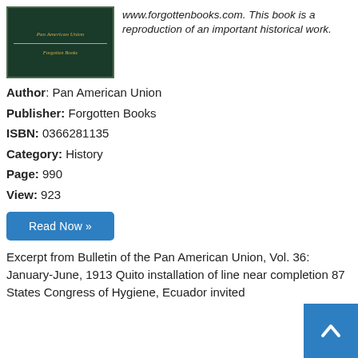[Figure (illustration): Book cover of Pan American Union, Forgotten Books reproduction, dark green with gold text]
www.forgottenbooks.com. This book is a reproduction of an important historical work.
Author: Pan American Union
Publisher: Forgotten Books
ISBN: 0366281135
Category: History
Page: 990
View: 923
Read Now »
Excerpt from Bulletin of the Pan American Union, Vol. 36: January-June, 1913 Quito installation of line near completion 87 States Congress of Hygiene, Ecuador invited